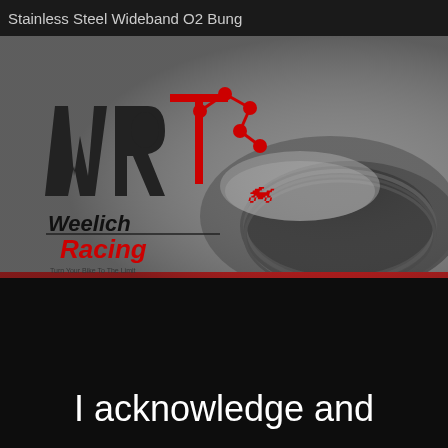Stainless Steel Wideband O2 Bung
[Figure (photo): Product photo of a stainless steel wideband O2 bung with Weelich Racing logo overlaid on a grey background. The logo features stylized 'WR' letters in black with red circuit-board style connector dots, and 'Weelich Racing' text in black and red italic script below, with a small red motorcycle rider graphic. The lower half of the product photo shows a close-up of the circular threaded bung component.]
I acknowledge and